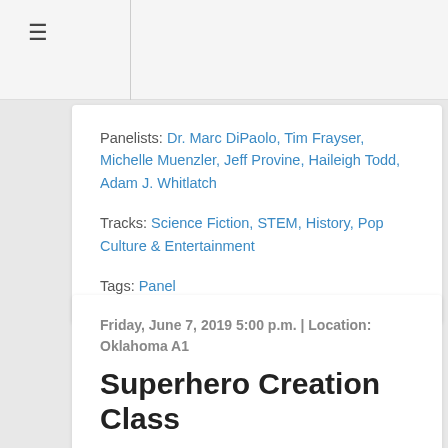≡
Panelists: Dr. Marc DiPaolo, Tim Frayser, Michelle Muenzler, Jeff Provine, Haileigh Todd, Adam J. Whitlatch
Tracks: Science Fiction, STEM, History, Pop Culture & Entertainment
Tags: Panel
Friday, June 7, 2019 5:00 p.m. | Location: Oklahoma A1
Superhero Creation Class
Learn quick-drawing techniques for sketching superheroes with Okie Comics Magazine's publisher and Equinox Comics artists. Kid-friendly.